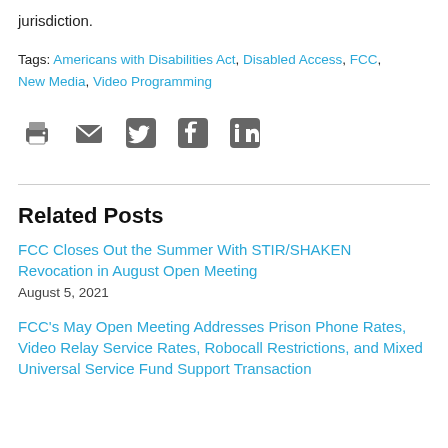jurisdiction.
Tags: Americans with Disabilities Act, Disabled Access, FCC, New Media, Video Programming
[Figure (infographic): Social sharing icons: print, email, Twitter, Facebook, LinkedIn]
Related Posts
FCC Closes Out the Summer With STIR/SHAKEN Revocation in August Open Meeting
August 5, 2021
FCC's May Open Meeting Addresses Prison Phone Rates, Video Relay Service Rates, Robocall Restrictions, and Mixed Universal Service Fund Support Transaction